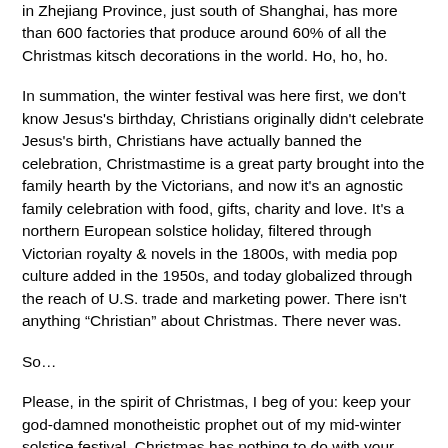in Zhejiang Province, just south of Shanghai, has more than 600 factories that produce around 60% of all the Christmas kitsch decorations in the world. Ho, ho, ho.
In summation, the winter festival was here first, we don't know Jesus's birthday, Christians originally didn't celebrate Jesus's birth, Christians have actually banned the celebration, Christmastime is a great party brought into the family hearth by the Victorians, and now it's an agnostic family celebration with food, gifts, charity and love. It's a northern European solstice holiday, filtered through Victorian royalty & novels in the 1800s, with media pop culture added in the 1950s, and today globalized through the reach of U.S. trade and marketing power. There isn't anything “Christian” about Christmas. There never was.
So…
Please, in the spirit of Christmas, I beg of you: keep your god-damned monotheistic prophet out of my mid-winter solstice festival. Christmas has nothing to do with your prophet, or Son of God, or whatever He is to you. Please keep your wacky monotheism at home, thank you very much. We’re here to